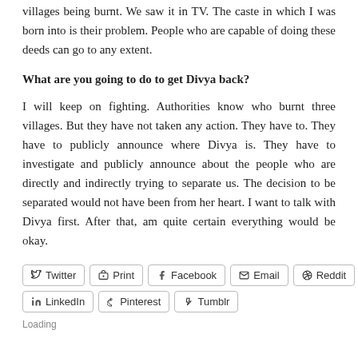villages being burnt. We saw it in TV. The caste in which I was born into is their problem. People who are capable of doing these deeds can go to any extent.
What are you going to do to get Divya back?
I will keep on fighting. Authorities know who burnt three villages. But they have not taken any action. They have to. They have to publicly announce where Divya is. They have to investigate and publicly announce about the people who are directly and indirectly trying to separate us. The decision to be separated would not have been from her heart. I want to talk with Divya first. After that, am quite certain everything would be okay.
Twitter  Print  Facebook  Email  Reddit  LinkedIn  Pinterest  Tumblr
Loading